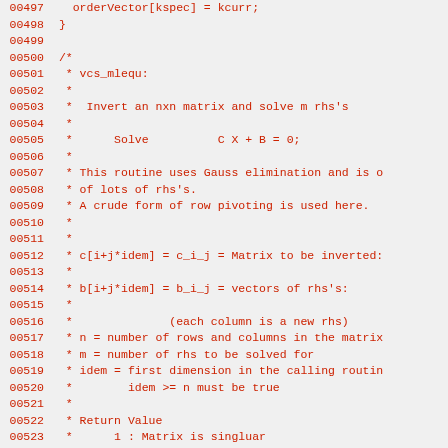Source code listing lines 00497-00527, showing C comment block for vcs_mlequ function